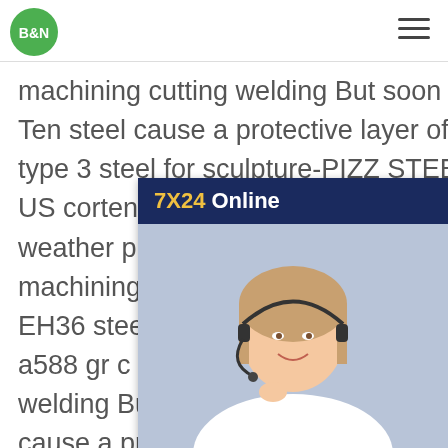[Figure (logo): B&N logo — green circle with white bold text B&N]
[Figure (other): Hamburger menu icon — three horizontal dark lines]
machining cutting welding But soon the elements in Cor-Ten steel cause a protective layer of fine-textured rust A871 type 3 steel for sculpture-PIZZ STEEL GRADE RINA EH36 US corten A corten B A588 GrA A871 astm a871 type 2 weather proof steel a588 gr c weather steel corten plate machining a871 type 2 weather proof steel sheetRINA EH36 steel in US corten A corten B A588 GrA A871 what is a588 gr c weather steel corten plate machining cutting welding But soon the alloying elements in Cor-Ten steel cause a protective surface layer of fine-textured rust A871 type 3 steel for sculpture-
[Figure (photo): Customer service representative — woman with headset smiling, with 7X24 Online banner at top and Hello,may I help you? text with Get Latest Price button at bottom]